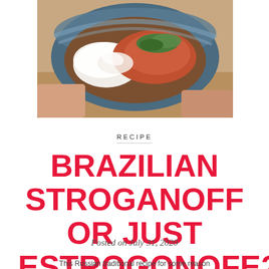[Figure (photo): A hand holding a ceramic bowl with blue glaze rim, containing rice, chicken stroganoff with cream sauce, and fresh herbs garnish.]
RECIPE
BRAZILIAN STROGANOFF OR JUST ESTROGONOFE?
Posted on July 31, 2020
This Russian traditional recipe for some reason...